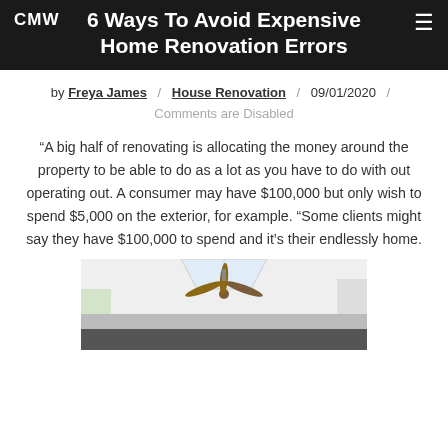CMW
6 Ways To Avoid Expensive Home Renovation Errors
by Freya James / House Renovation / 09/01/2020 / Comments are Disabled
“A big half of renovating is allocating the money around the property to be able to do as a lot as you have to do with out operating out. A consumer may have $100,000 but only wish to spend $5,000 on the exterior, for example. “Some clients might say they have $100,000 to spend and it’s their endlessly home.
[Figure (photo): Interior photo of a renovated room with a ceiling fan and skylight visible, bright white walls and windows.]